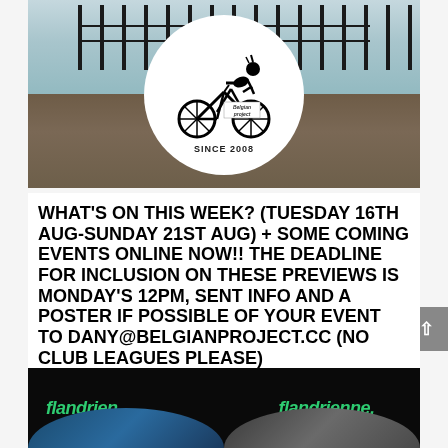[Figure (logo): Belgian Project logo: cyclist silhouette inside white circle overlaid on landscape photo with fence in background, text 'Belgian Project' and 'SINCE 2008']
What's on this week? (TUESDAY 16th AUG-SUNDAY 21st AUG) + SOME COMING EVENTS ONLINE NOW!! THE DEADLINE FOR INCLUSION ON THESE PREVIEWS IS MONDAY'S 12PM, SENT INFO AND A POSTER IF POSSIBLE OF YOUR EVENT TO DANY@BELGIANPROJECT.CC (NO CLUB LEAGUES PLEASE)
August 16, 2022
[Figure (photo): Dark banner image with green text 'flandrien.' and 'flandrienne.' with partial view of two cyclists/people below]